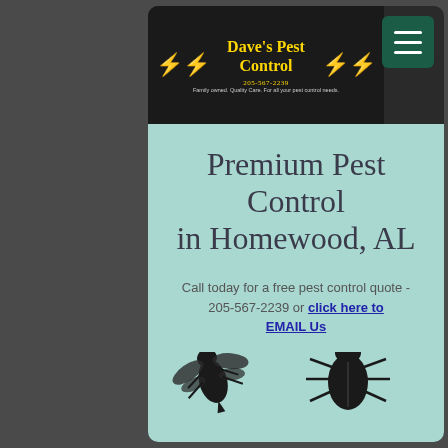Dave's Pest Control | 205-567-2239 | Family owned. Quality Care. For all your pest control needs.
Premium Pest Control in Homewood, AL
Call today for a free pest control quote - 205-567-2239 or click here to EMAIL Us
[Figure (illustration): Silhouette illustrations of two insects (wasp/bee and beetle/cockroach) at the bottom of the page]